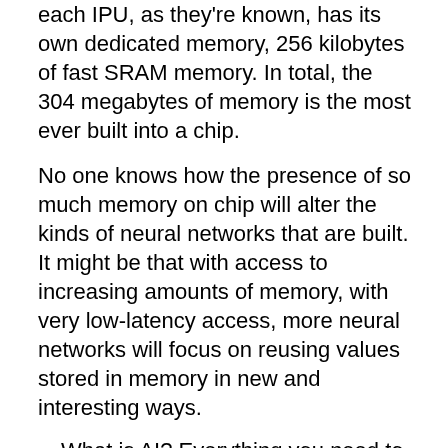each IPU, as they're known, has its own dedicated memory, 256 kilobytes of fast SRAM memory. In total, the 304 megabytes of memory is the most ever built into a chip.
No one knows how the presence of so much memory on chip will alter the kinds of neural networks that are built. It might be that with access to increasing amounts of memory, with very low-latency access, more neural networks will focus on reusing values stored in memory in new and interesting ways.
What is AI? Everything you need to know
What is deep learning? Everything you need to know
What is machine learning? Everything you need to